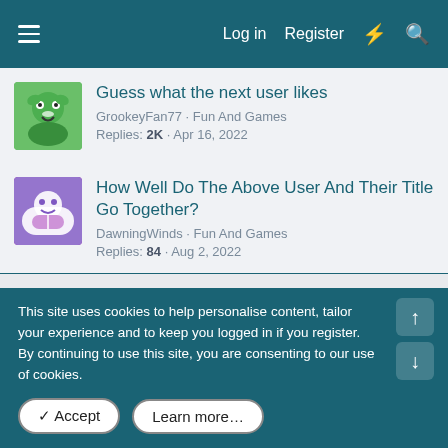Log in  Register
Guess what the next user likes | GrookeyFan77 · Fun And Games | Replies: 2K · Apr 16, 2022
How Well Do The Above User And Their Title Go Together? | DawningWinds · Fun And Games | Replies: 84 · Aug 2, 2022
What user comes to mind for the above human character? | MissDelibirda · Fun And Games | Replies: 102 · Aug 10, 2022
This site uses cookies to help personalise content, tailor your experience and to keep you logged in if you register.
By continuing to use this site, you are consenting to our use of cookies.
✓ Accept   Learn more…